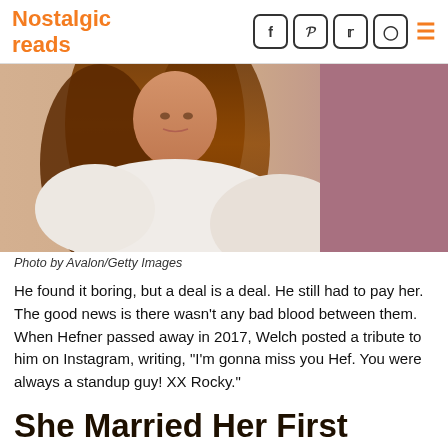Nostalgic reads
[Figure (photo): Portrait photo of a woman with long auburn hair wearing an off-shoulder white top, photographed against a mauve/pink background. Photo by Avalon/Getty Images.]
Photo by Avalon/Getty Images
He found it boring, but a deal is a deal. He still had to pay her. The good news is there wasn't any bad blood between them. When Hefner passed away in 2017, Welch posted a tribute to him on Instagram, writing, "I'm gonna miss you Hef. You were always a standup guy! XX Rocky."
She Married Her First